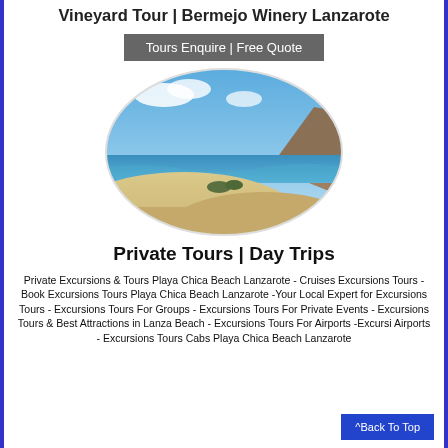Vineyard Tour | Bermejo Winery Lanzarote
Tours Enquire | Free Quote
[Figure (photo): Oval-framed landscape photo of Lanzarote beach with sand dunes, blue ocean, mountains, and partly cloudy sky]
Private Tours | Day Trips
Private Excursions & Tours Playa Chica Beach Lanzarote - Cruises Excursions Tours - Book Excursions Tours Playa Chica Beach Lanzarote -Your Local Expert for Excursions Tours - Excursions Tours For Groups - Excursions Tours For Private Events - Excursions Tours & Best Attractions in Lanzarote Beach - Excursions Tours For Airports -Excursions Tours For Airports - Excursions Tours Cabs Playa Chica Beach Lanzarote
^Back To Top